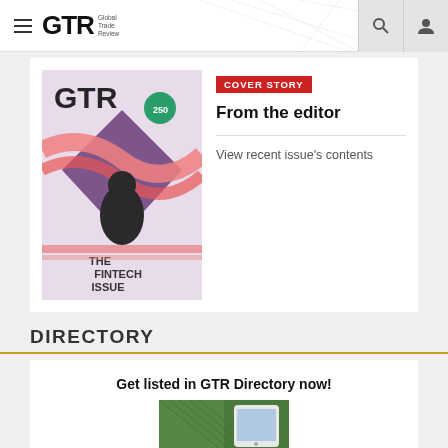GTR Global Trade Review — navigation bar with hamburger menu, search and user icons
[Figure (illustration): GTR magazine cover — The Fintech Issue, featuring a woman and colorful ribbon design]
COVER STORY
From the editor
View recent issue's contents
DIRECTORY
Get listed in GTR Directory now!
[Figure (illustration): GTR Directory promotional image showing green texture]